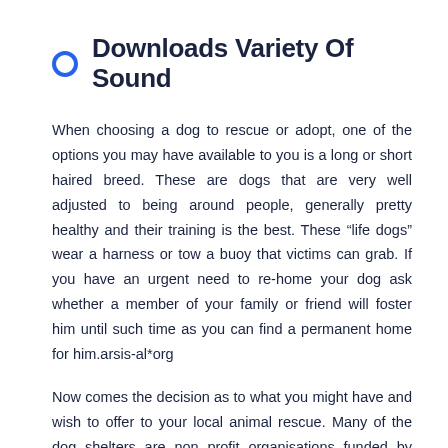Downloads Variety Of Sound
When choosing a dog to rescue or adopt, one of the options you may have available to you is a long or short haired breed. These are dogs that are very well adjusted to being around people, generally pretty healthy and their training is the best. These “life dogs” wear a harness or tow a buoy that victims can grab. If you have an urgent need to re-home your dog ask whether a member of your family or friend will foster him until such time as you can find a permanent home for him.arsis-al*org
Now comes the decision as to what you might have and wish to offer to your local animal rescue. Many of the dog shelters are non profit organisations funded by donations so they can care for homeless dogs. Dogs that are adopted from shelters are more likely to have